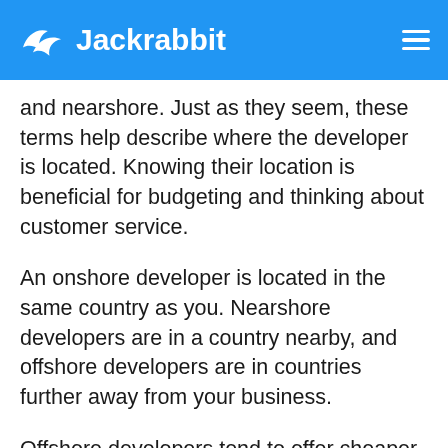Jackrabbit
and nearshore. Just as they seem, these terms help describe where the developer is located. Knowing their location is beneficial for budgeting and thinking about customer service.
An onshore developer is located in the same country as you. Nearshore developers are in a country nearby, and offshore developers are in countries further away from your business.
Offshore developers tend to offer cheaper costs, but they come with fewer possibilities for communication. Since